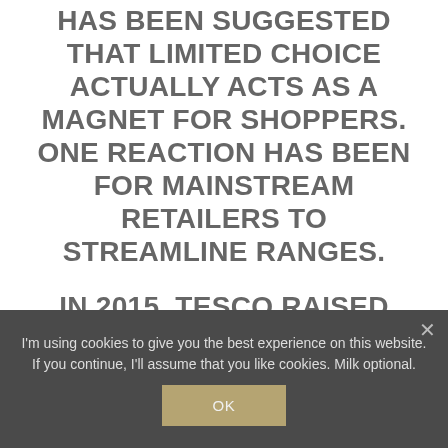HAS BEEN SUGGESTED THAT LIMITED CHOICE ACTUALLY ACTS AS A MAGNET FOR SHOPPERS. ONE REACTION HAS BEEN FOR MAINSTREAM RETAILERS TO STREAMLINE RANGES.
IN 2015, TESCO RAISED EYEBROWS WHEN IT ANNOUNCED IT WOULD NO LONGER STOCK BEER BRAND CARLSBERG TO REDUCE THE NUMBER OF BEER BRANDS
I'm using cookies to give you the best experience on this website. If you continue, I'll assume that you like cookies. Milk optional.
OK